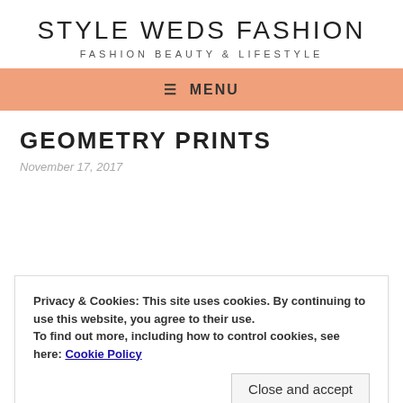STYLE WEDS FASHION
FASHION BEAUTY & LIFESTYLE
≡ MENU
GEOMETRY PRINTS
November 17, 2017
Privacy & Cookies: This site uses cookies. By continuing to use this website, you agree to their use.
To find out more, including how to control cookies, see here: Cookie Policy
Close and accept
fashionable in fact more than me. So I bought it for